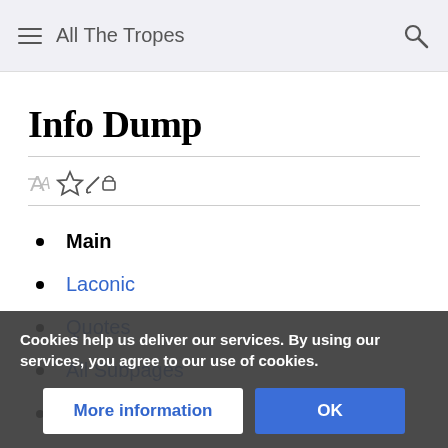All The Tropes
Info Dump
Main
Laconic
Quotes
All Subpages
Create New
Cookies help us deliver our services. By using our services, you agree to our use of cookies.